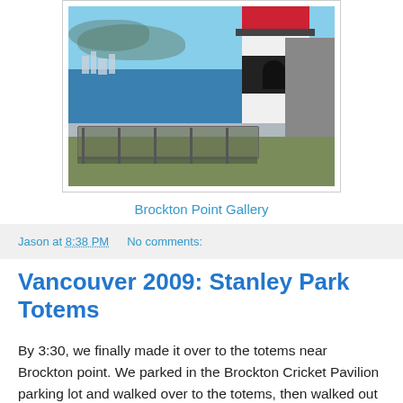[Figure (photo): Photograph of Brockton Point lighthouse with red top, black band with arch, gray concrete walls, metal fencing in foreground, and Vancouver skyline across water in background under blue sky]
Brockton Point Gallery
Jason at 8:38 PM   No comments:
Vancouver 2009: Stanley Park Totems
By 3:30, we finally made it over to the totems near Brockton point. We parked in the Brockton Cricket Pavilion parking lot and walked over to the totems, then walked out to Brockton point and looked over to the lighthouse just before sitting down...